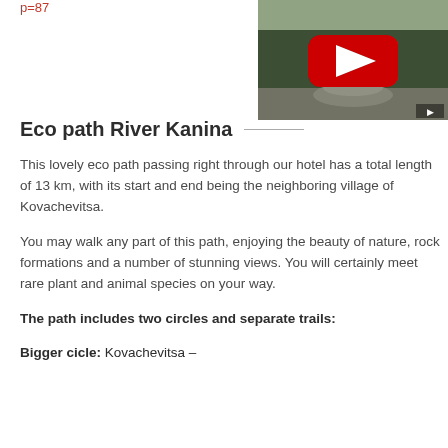p=87
[Figure (screenshot): YouTube video thumbnail showing outdoor scene with trees and a red play button overlay]
Eco path River Kanina
This lovely eco path passing right through our hotel has a total length of 13 km, with its start and end being the neighboring village of Kovachevitsa.
You may walk any part of this path, enjoying the beauty of nature, rock formations and a number of stunning views. You will certainly meet rare plant and animal species on your way.
The path includes two circles and separate trails:
Bigger cicle: Kovachevitsa –